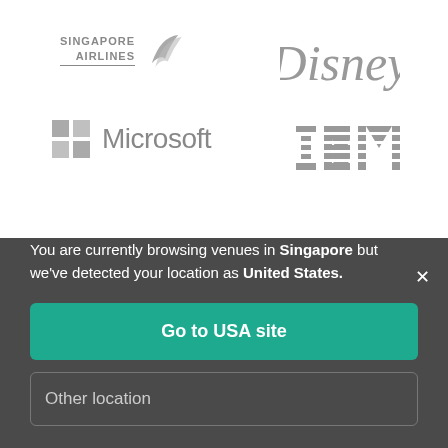[Figure (logo): Singapore Airlines logo in grey]
[Figure (logo): Disney logo in grey]
[Figure (logo): Microsoft logo in grey]
[Figure (logo): IBM logo in grey]
You are currently browsing venues in Singapore but we've detected your location as United States.
Go to USA site
Other location